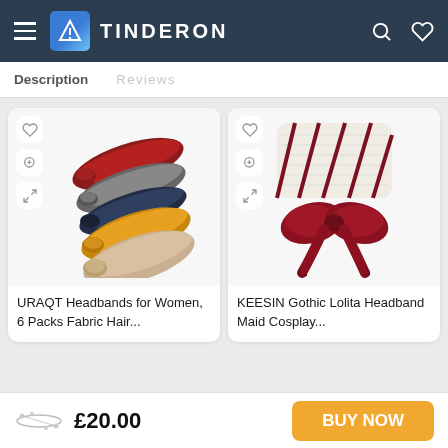TINDERON
Description
[Figure (photo): URAQT Headbands for Women, 6 Packs Fabric Hair... - product image showing multiple colorful knotted headbands in red, grey, yellow, and navy]
URAQT Headbands for Women, 6 Packs Fabric Hair...
[Figure (photo): KEESIN Gothic Lolita Headband Maid Cosplay... - product image showing a white lace headband with large dark red bow]
KEESIN Gothic Lolita Headband Maid Cosplay...
£20.00   BUY NOW